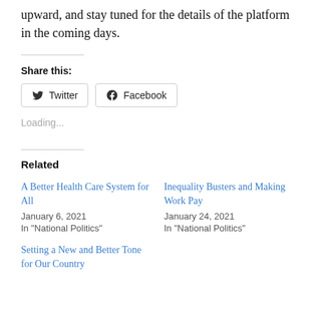upward, and stay tuned for the details of the platform in the coming days.
Share this:
Twitter  Facebook
Loading...
Related
A Better Health Care System for All
January 6, 2021
In "National Politics"
Inequality Busters and Making Work Pay
January 24, 2021
In "National Politics"
Setting a New and Better Tone for Our Country